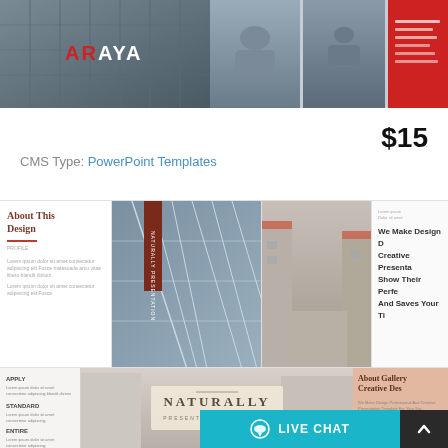[Figure (screenshot): Top banner with two slide previews: left shows ARAYA logo on dark building background, right shows team/business photos with red accent panel]
$15
CMS Type: PowerPoint Templates
[Figure (screenshot): Grid of PowerPoint template slide previews: About This Design slide, tall building photo, alley photo, and text slide]
[Figure (screenshot): Bottom row of template previews: text slide, NATURALLY presentation template on street photo, About Gallery Creative Design slide]
LIVE CHAT